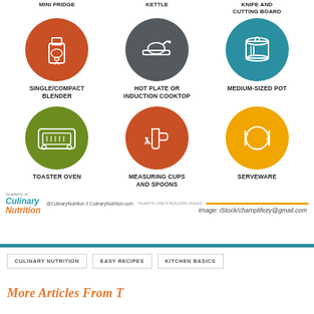[Figure (infographic): 3x2 grid of kitchen equipment icons in colored circles: Mini Fridge (orange, blender icon - labeled Single/Compact Blender), Kettle (gray, stove/kettle icon - labeled Hot Plate or Induction Cooktop), Knife and Cutting Board (teal, pot icon - labeled Medium-Sized Pot), Toaster Oven (green circle), Measuring Cups and Spoons (orange circle), Serveware (orange/yellow circle)]
Image: iStock/champlifezy@gmail.com
Academy of Culinary Nutrition @CulinaryNutrition // CulinaryNutrition.com *ALWAYS CHECK BUILDING RULES
CULINARY NUTRITION   EASY RECIPES   KITCHEN BASICS